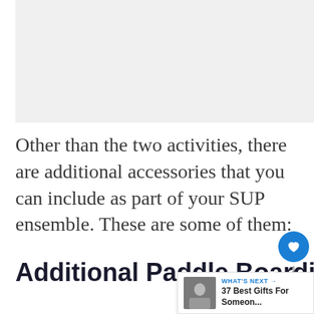[Figure (photo): Light gray placeholder image area at top of page]
Other than the two activities, there are additional accessories that you can include as part of your SUP ensemble. These are some of them:
Additional Paddle Boarding Accessories: